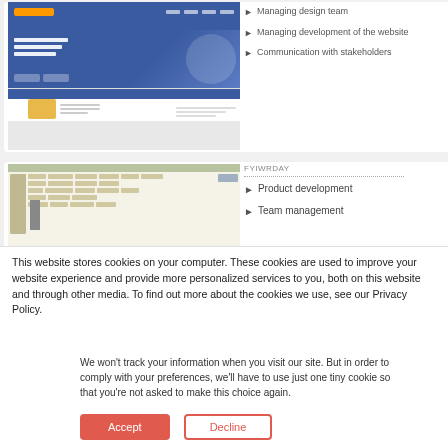[Figure (screenshot): Screenshot of a website with blue header and hero section showing a tech/app product]
Managing design team
Managing development of the website
Communication with stakeholders
[Figure (screenshot): Screenshot of a spreadsheet/table document with grid layout and thumbnails]
Product development
Team management
This website stores cookies on your computer. These cookies are used to improve your website experience and provide more personalized services to you, both on this website and through other media. To find out more about the cookies we use, see our Privacy Policy.
We won't track your information when you visit our site. But in order to comply with your preferences, we'll have to use just one tiny cookie so that you're not asked to make this choice again.